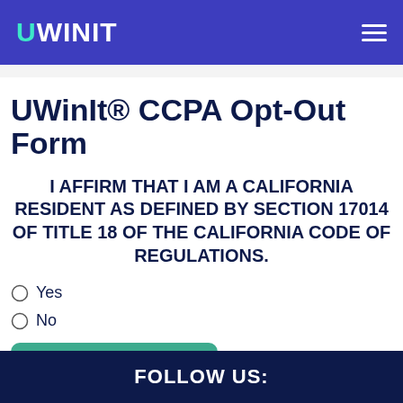UWINIT
UWinIt® CCPA Opt-Out Form
I AFFIRM THAT I AM A CALIFORNIA RESIDENT AS DEFINED BY SECTION 17014 OF TITLE 18 OF THE CALIFORNIA CODE OF REGULATIONS.
Yes
No
>> Next <<
FOLLOW US: